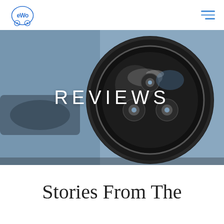eWo logo and hamburger navigation menu
[Figure (photo): Close-up photograph of a round motorcycle or vehicle headlight with LED elements, dark metallic housing, against a blurred blue-grey background. The word REVIEWS is overlaid in white uppercase letters across the center of the image.]
REVIEWS
Stories From The